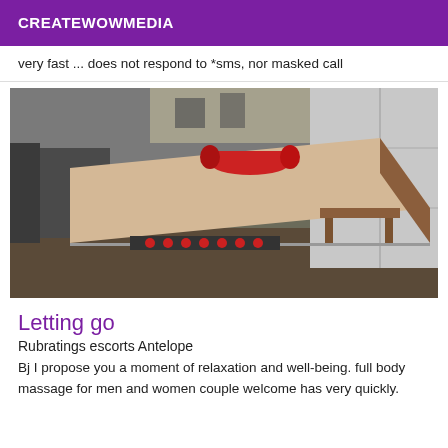CREATEWOWMEDIA
very fast ... does not respond to *sms, nor masked call
[Figure (photo): A massage table covered with a light beige sheet, a red cylindrical pillow at the head, infrared or heated lamp panel at the foot, wooden side bench, grey couch on the left, white cupboards on the right, in an indoor room with wood floor.]
Letting go
Rubratings escorts Antelope
Bj I propose you a moment of relaxation and well-being. full body massage for men and women couple welcome has very quickly.